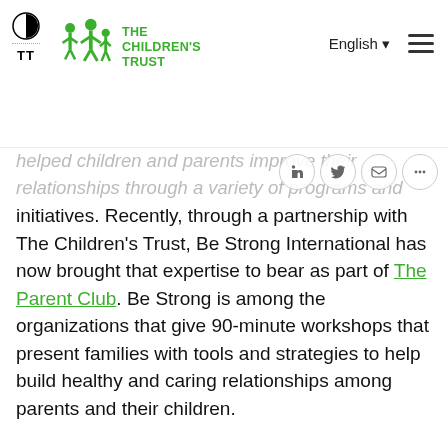THE CHILDREN'S TRUST | English
helped children and parents improve their relationships through a variety of programs and initiatives. Recently, through a partnership with The Children's Trust, Be Strong International has now brought that expertise to bear as part of The Parent Club. Be Strong is among the organizations that give 90-minute workshops that present families with tools and strategies to help build healthy and caring relationships among parents and their children.
“The Children’s Trust gave us an opportunity to work with parents and give them knowledge that will help them understand (their children) a little better,” said Darryl Auberry, the program director for Be Strong. “Parents can come and learn about different child raising techniques for children from 0 all the way to 17 years of age,” added Parent Club facilitator Ezra